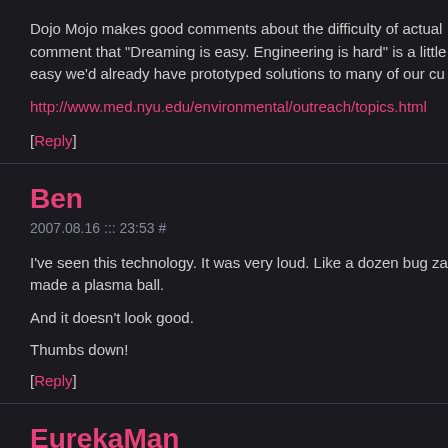Dojo Mojo makes good comments about the difficulty of actual comment that "Dreaming is easy. Engineering is hard" is a little easy we'd already have prototyped solutions to many of our cu
http://www.med.nyu.edu/environmental/outreach/topics.html
[Reply]
Ben
2007.08.16 ::: 23:53 #
I've seen this technology. It was very loud. Like a dozen bug za made a plasma ball.

And it doesn't look good.

Thumbs down!
[Reply]
EurekaMan
2007.08.17 ::: 01:03 #